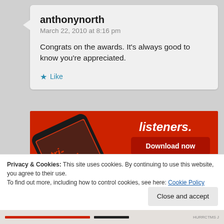anthonynorth
March 22, 2010 at 8:16 pm
Congrats on the awards. It's always good to know you're appreciated.
Like
[Figure (screenshot): Advertisement for a podcast app showing a smartphone with a red background. Text reads 'listeners.' and '-tri-buted' with a 'Download now' button and Pocket Casts branding at bottom.]
Privacy & Cookies: This site uses cookies. By continuing to use this website, you agree to their use.
To find out more, including how to control cookies, see here: Cookie Policy